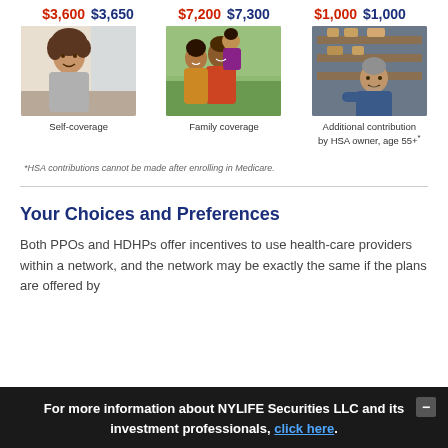[Figure (infographic): Three columns showing HSA contribution amounts for 2021 and 2022 with photos. Self-coverage: $3,600 (2021) $3,650 (2022). Family coverage: $7,200 (2021) $7,300 (2022). Additional contribution by HSA owner age 55+: $1,000 (2021) $1,000 (2022).]
*HSA contributions cannot be made after enrolling in Medicare.
Your Choices and Preferences
Both PPOs and HDHPs offer incentives to use health-care providers within a network, and the network may be exactly the same if the plans are offered by
For more information about NYLIFE Securities LLC and its investment professionals, click here.